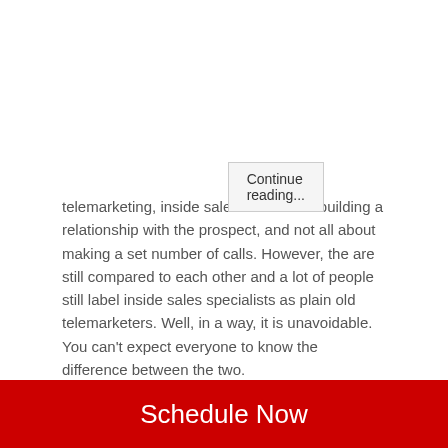telemarketing, inside sales is all about building a relationship with the prospect, and not all about making a set number of calls. However, the are still compared to each other and a lot of people still label inside sales specialists as plain old telemarketers. Well, in a way, it is unavoidable. You can't expect everyone to know the difference between the two.
As such, it would be in your best interests to make sure that your clients and B2B prospects are informed that you are all about inside sales, and not just another B2B telemarketing firm. So, here are a few steps you can take in establishing your presence as a B2B inside sales company.
Schedule Now